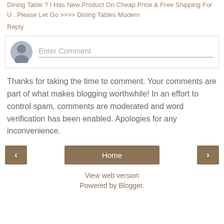Dining Table ? I Has New Product On Cheap Price & Free Shipping For U . Please Let Go >>>> Dining Tables Modern
Reply
[Figure (other): Comment input area with avatar icon and placeholder text 'Enter Comment']
Thanks for taking the time to comment. Your comments are part of what makes blogging worthwhile! In an effort to control spam, comments are moderated and word verification has been enabled. Apologies for any inconvenience.
< Home >
View web version
Powered by Blogger.